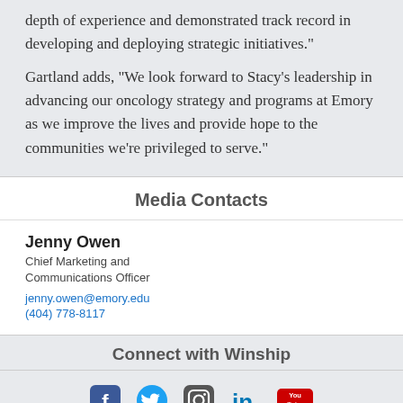depth of experience and demonstrated track record in developing and deploying strategic initiatives."
Gartland adds, "We look forward to Stacy’s leadership in advancing our oncology strategy and programs at Emory as we improve the lives and provide hope to the communities we’re privileged to serve."
Media Contacts
Jenny Owen
Chief Marketing and Communications Officer
jenny.owen@emory.edu
(404) 778-8117
Connect with Winship
[Figure (other): Social media icons row: Facebook, Twitter, Instagram, LinkedIn, YouTube]